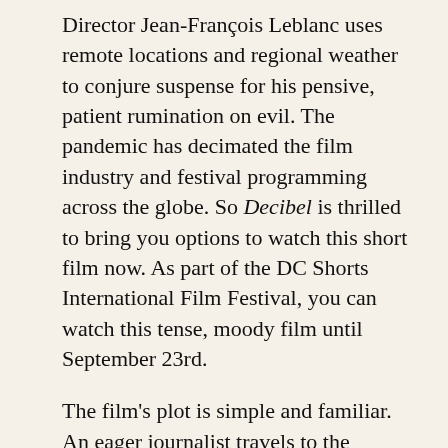Director Jean-François Leblanc uses remote locations and regional weather to conjure suspense for his pensive, patient rumination on evil. The pandemic has decimated the film industry and festival programming across the globe. So Decibel is thrilled to bring you options to watch this short film now. As part of the DC Shorts International Film Festival, you can watch this tense, moody film until September 23rd.
The film's plot is simple and familiar. An eager journalist travels to the woodland studio where a mysterious metal band records their new record. It's the band's first recording since their release from prison. The details around the imprisonment involve the death of their band member, whose corpse adorns their album cover. Using Mayhem's notorious early headlines as inspiration,